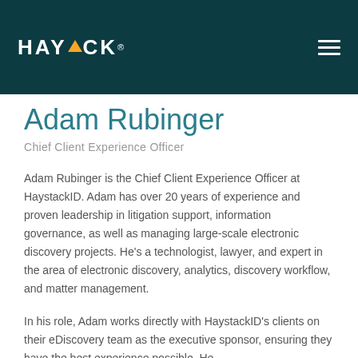HAYSTACK
Adam Rubinger
Chief Client Experience Officer
Adam Rubinger is the Chief Client Experience Officer at HaystackID. Adam has over 20 years of experience and proven leadership in litigation support, information governance, as well as managing large-scale electronic discovery projects. He’s a technologist, lawyer, and expert in the area of electronic discovery, analytics, discovery workflow, and matter management.
In his role, Adam works directly with HaystackID’s clients on their eDiscovery team as the executive sponsor, ensuring they have the best experience possible. He